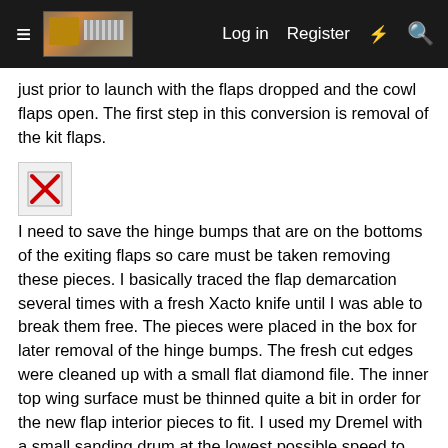≡  [logo]  Log in  Register  ⚡  🔍
just prior to launch with the flaps dropped and the cowl flaps open. The first step in this conversion is removal of the kit flaps.
[Figure (illustration): Broken image icon (red X placeholder)]
I need to save the hinge bumps that are on the bottoms of the exiting flaps so care must be taken removing these pieces. I basically traced the flap demarcation several times with a fresh Xacto knife until I was able to break them free. The pieces were placed in the box for later removal of the hinge bumps. The fresh cut edges were cleaned up with a small flat diamond file. The inner top wing surface must be thinned quite a bit in order for the new flap interior pieces to fit. I used my Dremel with a small sanding drum at the lowest possible speed to remove the largest portion of the plastic. Once again, care must be taken because the plastic heats up very quickly. I kept my finger resting on the top surface of the wing so I could monitor the temperature during the grinding process. I also would periodically hold the wing up to a light to check the thinness of the plastic. Once I had most of the heavy work completed I